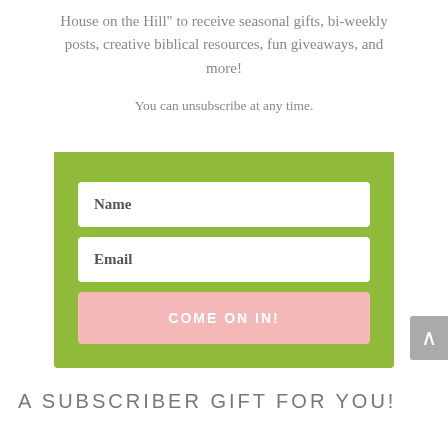House on the Hill" to receive seasonal gifts, bi-weekly posts, creative biblical resources, fun giveaways, and more!
You can unsubscribe at any time.
[Figure (infographic): A green envelope/form widget with a decorative folded flap at the top, containing a Name input field, an Email input field, and a pink 'COME ON IN!' submit button.]
A SUBSCRIBER GIFT FOR YOU!